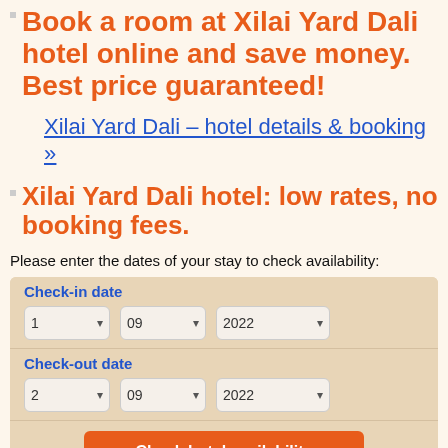Book a room at Xilai Yard Dali hotel online and save money. Best price guaranteed!
Xilai Yard Dali – hotel details & booking »
Xilai Yard Dali hotel: low rates, no booking fees.
Please enter the dates of your stay to check availability:
| Check-in date |  |  |
| --- | --- | --- |
| 1 ▾ | 09 ▾ | 2022 ▾ |
| Check-out date |  |  |
| 2 ▾ | 09 ▾ | 2022 ▾ |
Check hotel availability